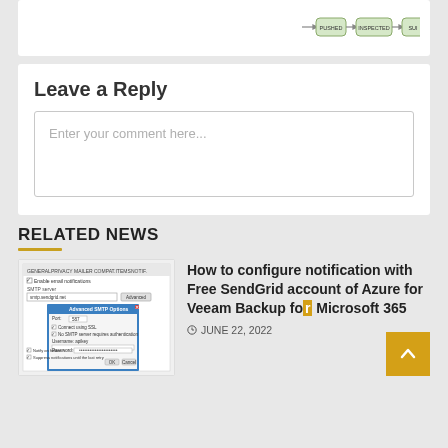[Figure (screenshot): Partial screenshot at top showing a flowchart with boxes labeled PUSHED, INSPECTED, and partially visible third box with arrows between them on white background.]
Leave a Reply
Enter your comment here...
RELATED NEWS
[Figure (screenshot): Screenshot of Veeam Backup email notification SMTP configuration dialog with Advanced SMTP Options popup showing fields for port, SSL, authentication, username, password.]
How to configure notification with Free SendGrid account of Azure for Veeam Backup for Microsoft 365
JUNE 22, 2022